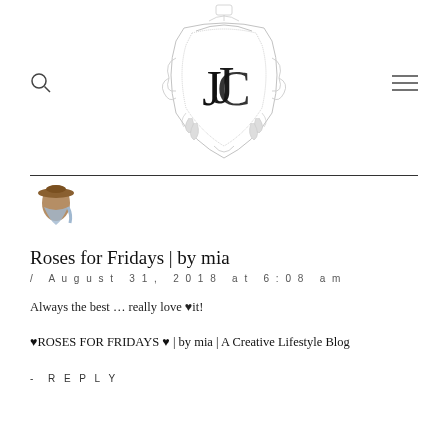[Figure (logo): Ornate heraldic crest logo with the letter J and C monogram, decorative scrollwork and floral elements, lantern on top, rendered in light gray]
Roses for Fridays | by mia
/ August 31, 2018 at 6:08 am
Always the best … really love ♥it!
♥ROSES FOR FRIDAYS ♥ | by mia | A Creative Lifestyle Blog
- REPLY